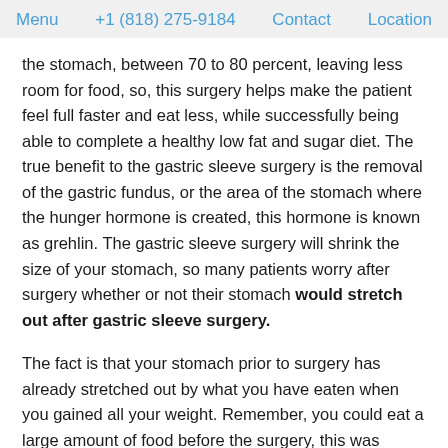Menu  +1 (818) 275-9184  Contact  Location
the stomach, between 70 to 80 percent, leaving less room for food, so, this surgery helps make the patient feel full faster and eat less, while successfully being able to complete a healthy low fat and sugar diet.  The true benefit to the gastric sleeve surgery is the removal of the gastric fundus, or the area of the stomach where the hunger hormone is created, this hormone is known as grehlin. The gastric sleeve surgery will shrink the size of your stomach, so many patients worry after surgery whether or not their stomach would stretch out after gastric sleeve surgery.
The fact is that your stomach prior to surgery has already stretched out by what you have eaten when you gained all your weight.  Remember, you could eat a large amount of food before the surgery, this was because your stomach...